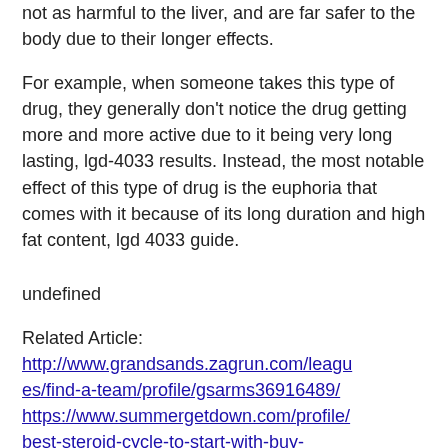not as harmful to the liver, and are far safer to the body due to their longer effects.
For example, when someone takes this type of drug, they generally don't notice the drug getting more and more active due to it being very long lasting, lgd-4033 results. Instead, the most notable effect of this type of drug is the euphoria that comes with it because of its long duration and high fat content, lgd 4033 guide.
undefined
Related Article: http://www.grandsands.zagrun.com/leagues/find-a-team/profile/gsarms36916489/ https://www.summergetdown.com/profile/best-steroid-cycle-to-start-with-buy-sarms-gold-coast-7055/profile